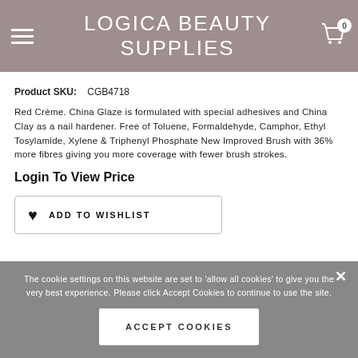LOGICA BEAUTY SUPPLIES
Product SKU: CGB4718
Red Crème. China Glaze is formulated with special adhesives and China Clay as a nail hardener. Free of Toluene, Formaldehyde, Camphor, Ethyl Tosylamide, Xylene & Triphenyl Phosphate New Improved Brush with 36% more fibres giving you more coverage with fewer brush strokes.
Login To View Price
ADD TO WISHLIST
The cookie settings on this website are set to 'allow all cookies' to give you the very best experience. Please click Accept Cookies to continue to use the site.
ACCEPT COOKIES